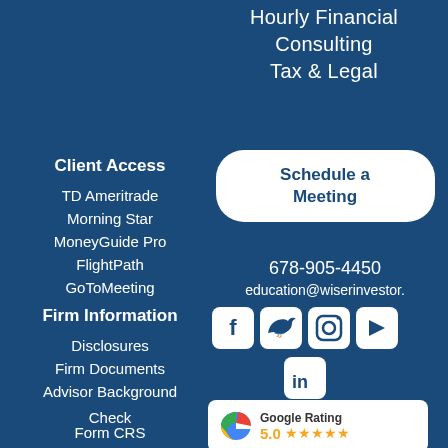Hourly Financial
Consulting
Tax & Legal
Client Access
TD Ameritrade
Morning Star
MoneyGuide Pro
FlightPath
GoToMeeting
Firm Information
Disclosures
Firm Documents
Advisor Background Check
Form CRS
Schedule a Meeting
678-905-4450
education@wiserinvestor.
[Figure (logo): Social media icons: Facebook, Twitter, Instagram, YouTube, LinkedIn]
[Figure (infographic): Google Rating badge showing 5.0 stars]